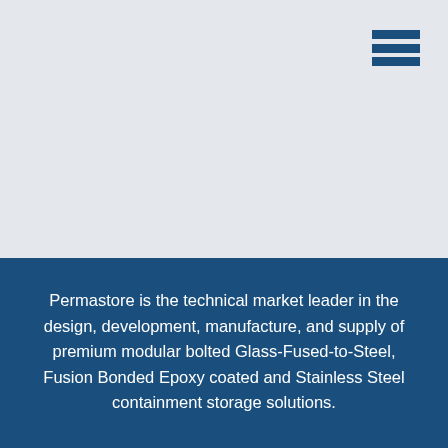[Figure (other): Hamburger menu icon with three horizontal dark blue bars in the top-right corner]
Permastore is the technical market leader in the design, development, manufacture, and supply of premium modular bolted Glass-Fused-to-Steel, Fusion Bonded Epoxy coated and Stainless Steel containment storage solutions.